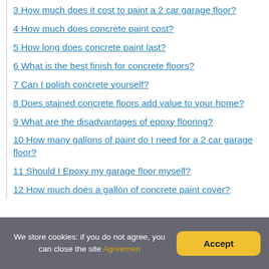3 How much does it cost to paint a 2 car garage floor?
4 How much does concrete paint cost?
5 How long does concrete paint last?
6 What is the best finish for concrete floors?
7 Can I polish concrete yourself?
8 Does stained concrete floors add value to your home?
9 What are the disadvantages of epoxy flooring?
10 How many gallons of paint do I need for a 2 car garage floor?
11 Should I Epoxy my garage floor myself?
12 How much does a gallon of concrete paint cover?
We store cookies: if you do not agree, you can close the site Agreemen